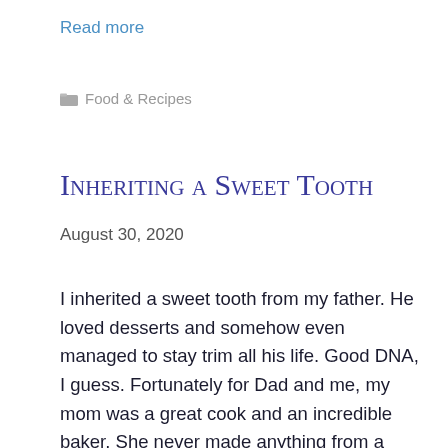Read more
Food & Recipes
Inheriting a Sweet Tooth
August 30, 2020
I inherited a sweet tooth from my father. He loved desserts and somehow even managed to stay trim all his life. Good DNA, I guess. Fortunately for Dad and me, my mom was a great cook and an incredible baker. She never made anything from a package or a mix. She made it all from scratch – cakes,